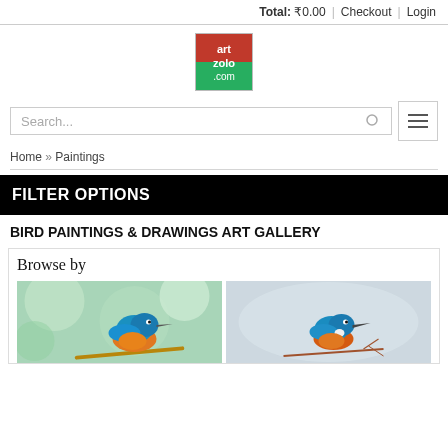Total: ₹0.00  |  Checkout  |  Login
[Figure (logo): artzolo.com logo — red and green square with white text]
Search...
Home » Paintings
FILTER OPTIONS
BIRD PAINTINGS & DRAWINGS ART GALLERY
Browse by
[Figure (photo): Kingfisher bird painting — blue and orange bird on branch, green bokeh background (left)]
[Figure (photo): Kingfisher bird painting — blue bird perched on twig, grey watercolor background (right)]